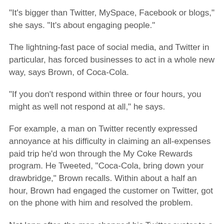"It's bigger than Twitter, MySpace, Facebook or blogs," she says. "It's about engaging people."
The lightning-fast pace of social media, and Twitter in particular, has forced businesses to act in a whole new way, says Brown, of Coca-Cola.
"If you don't respond within three or four hours, you might as well not respond at all," he says.
For example, a man on Twitter recently expressed annoyance at his difficulty in claiming an all-expenses paid trip he'd won through the My Coke Rewards program. He Tweeted, "Coca-Cola, bring down your drawbridge," Brown recalls. Within about a half an hour, Brown had engaged the customer on Twitter, got on the phone with him and resolved the problem.
Not long after, the man changed his Twitter avatar to a can of Coke Zero.
Like Brown, Scott Monty is working to create a social-media